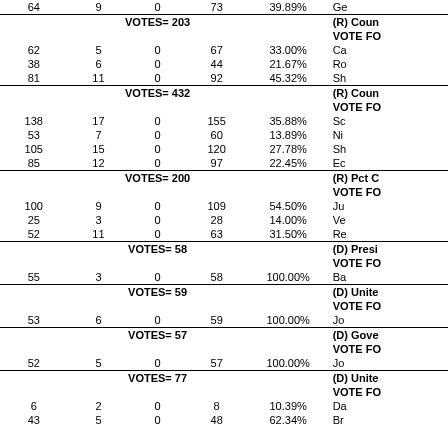| Col1 | Col2 | Col3 | Col4 | Col5 | Col6 |
| --- | --- | --- | --- | --- | --- |
| 64 | 9 | 0 | 73 | 39.89% | Ge |
| VOTES= 203 |  |  |  |  | (R) Coun / VOTE FO |
| 62 | 5 | 0 | 67 | 33.00% | Ca |
| 38 | 6 | 0 | 44 | 21.67% | Ro |
| 81 | 11 | 0 | 92 | 45.32% | Sh |
| VOTES= 432 |  |  |  |  | (R) Coun / VOTE FO |
| 138 | 17 | 0 | 155 | 35.88% | Sc |
| 53 | 7 | 0 | 60 | 13.89% | Ni |
| 105 | 15 | 0 | 120 | 27.78% | Sh |
| 85 | 12 | 0 | 97 | 22.45% | Ec |
| VOTES= 200 |  |  |  |  | (R) Pct C / VOTE FO |
| 100 | 9 | 0 | 109 | 54.50% | Ju |
| 25 | 3 | 0 | 28 | 14.00% | Ve |
| 52 | 11 | 0 | 63 | 31.50% | Re |
| VOTES= 58 |  |  |  |  | (D) Presi / VOTE FO |
| 55 | 3 | 0 | 58 | 100.00% | Ba |
| VOTES= 59 |  |  |  |  | (D) Unite / VOTE FO |
| 53 | 6 | 0 | 59 | 100.00% | Jo |
| VOTES= 57 |  |  |  |  | (D) Gove / VOTE FO |
| 52 | 5 | 0 | 57 | 100.00% | Jo |
| VOTES= 77 |  |  |  |  | (D) Unite / VOTE FO |
| 6 | 2 | 0 | 8 | 10.39% | Da |
| 43 | 5 | 0 | 48 | 62.34% | Br |